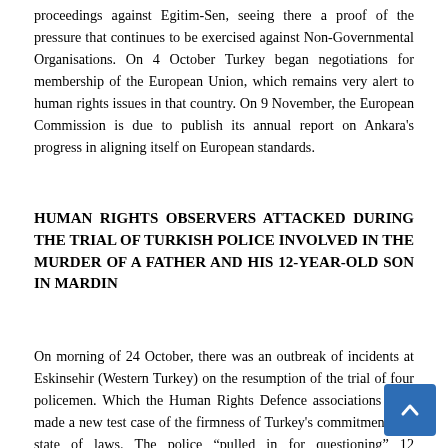proceedings against Egitim-Sen, seeing there a proof of the pressure that continues to be exercised against Non-Governmental Organisations. On 4 October Turkey began negotiations for membership of the European Union, which remains very alert to human rights issues in that country. On 9 November, the European Commission is due to publish its annual report on Ankara's progress in aligning itself on European standards.
HUMAN RIGHTS OBSERVERS ATTACKED DURING THE TRIAL OF TURKISH POLICE INVOLVED IN THE MURDER OF A FATHER AND HIS 12-YEAR-OLD SON IN MARDIN
On morning of 24 October, there was an outbreak of incidents at Eskinsehir (Western Turkey) on the resumption of the trial of four policemen. Which the Human Rights Defence associations have made a new test case of the firmness of Turkey's commitment to a state of laws. The police "pulled in for questioning" 12 demonstrators of a group of 40 people wishing to attend the trial of the murderers of a Kurd and his 12-year-old son. Having been forbidden entry to the Assize Court, these people started throwing